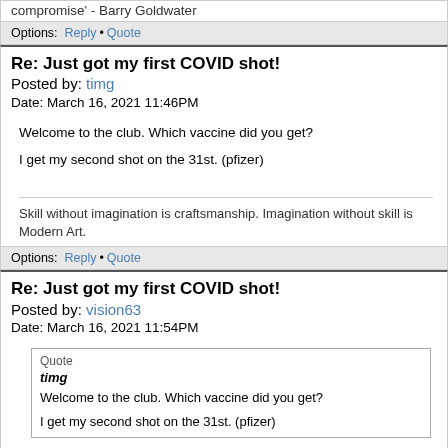compromise - Barry Goldwater
Options: Reply • Quote
Re: Just got my first COVID shot!
Posted by: timg
Date: March 16, 2021 11:46PM
Welcome to the club. Which vaccine did you get?
I get my second shot on the 31st. (pfizer)
Skill without imagination is craftsmanship. Imagination without skill is Modern Art.
Options: Reply • Quote
Re: Just got my first COVID shot!
Posted by: vision63
Date: March 16, 2021 11:54PM
Quote
timg
Welcome to the club. Which vaccine did you get?
I get my second shot on the 31st. (pfizer)
I get my second one on the 31st too (pfizer).